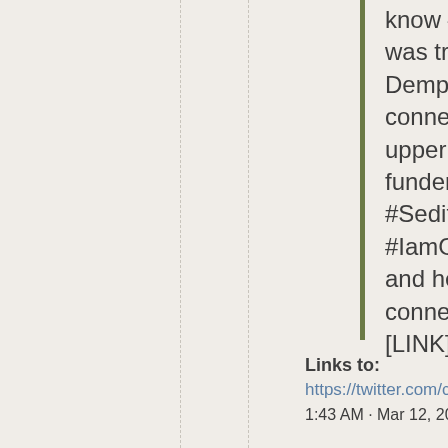know – but hopefully it was tracing Dempsey's many connections to the upper stratum, the funders, the #SeditionVIPs, to #IamGenevievePeters and her well-connected friends. 10/ [LINK]
Links to:
https://twitter.com/chadloder/s
1:43 AM · Mar 12, 2021